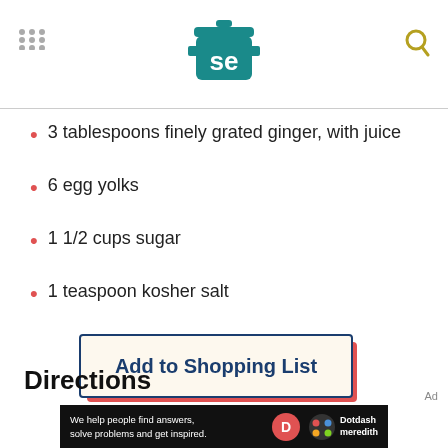Serious Eats logo header with navigation dots and search icon
3 tablespoons finely grated ginger, with juice
6 egg yolks
1 1/2 cups sugar
1 teaspoon kosher salt
Add to Shopping List
Directions
[Figure (other): Dotdash Meredith ad banner: 'We help people find answers, solve problems and get inspired.' with D logo and colorful circle icon]
Ad